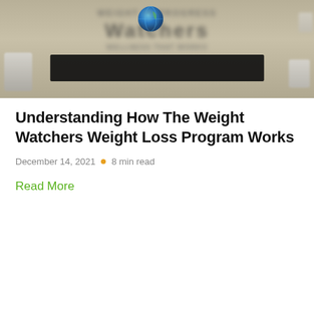[Figure (photo): Blurred photo of a Weight Watchers storefront sign with globe logo, black banner bar, and objects on sides]
Understanding How The Weight Watchers Weight Loss Program Works
December 14, 2021 • 8 min read
Read More